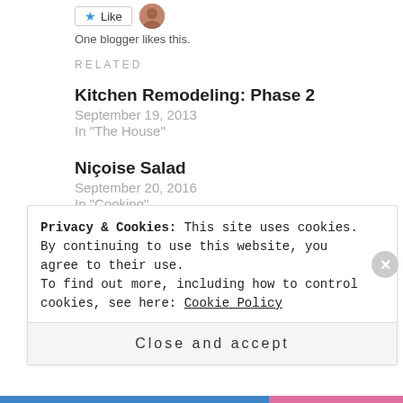[Figure (other): Like button with star icon and user avatar thumbnail]
One blogger likes this.
RELATED
Kitchen Remodeling: Phase 2
September 19, 2013
In "The House"
Niçoise Salad
September 20, 2016
In "Cooking"
Simple Pork for Project Day
October 23, 2013
Privacy & Cookies: This site uses cookies. By continuing to use this website, you agree to their use.
To find out more, including how to control cookies, see here: Cookie Policy
Close and accept